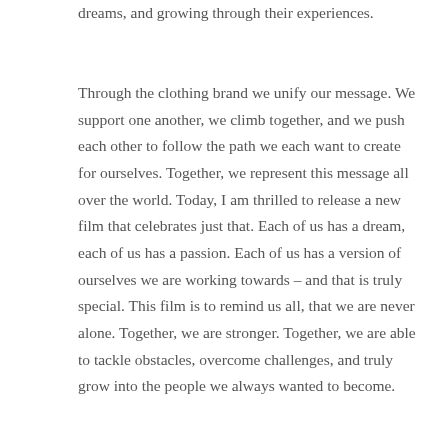dreams, and growing through their experiences.
Through the clothing brand we unify our message. We support one another, we climb together, and we push each other to follow the path we each want to create for ourselves. Together, we represent this message all over the world. Today, I am thrilled to release a new film that celebrates just that. Each of us has a dream, each of us has a passion. Each of us has a version of ourselves we are working towards – and that is truly special. This film is to remind us all, that we are never alone. Together, we are stronger. Together, we are able to tackle obstacles, overcome challenges, and truly grow into the people we always wanted to become.